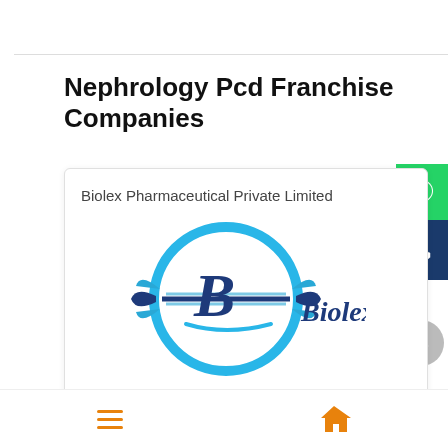Nephrology Pcd Franchise Companies
Biolex Pharmaceutical Private Limited
[Figure (logo): Biolex Pharmaceutical logo — circular light blue ring with dark blue wing shapes and stylized 'B' letter inside, with 'Biolex' text to the right]
Location: New Motor Market &